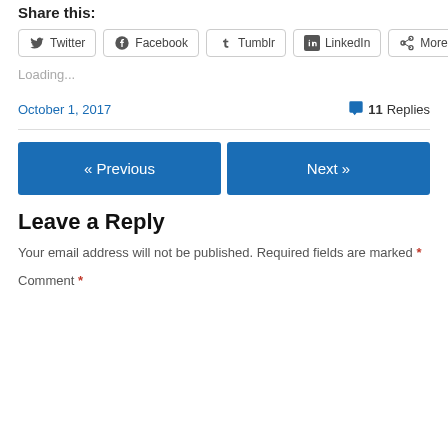Share this:
Twitter
Facebook
Tumblr
LinkedIn
More
Loading...
October 1, 2017
11 Replies
« Previous
Next »
Leave a Reply
Your email address will not be published. Required fields are marked *
Comment *